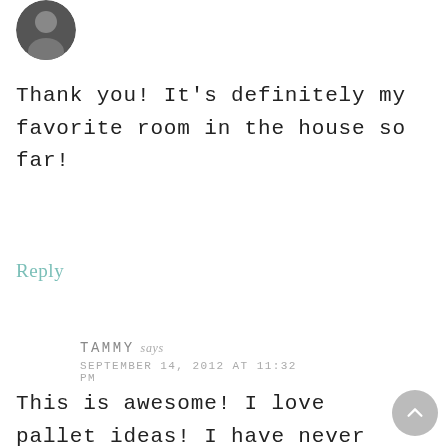[Figure (photo): Circular avatar photo of a person with dark hair]
Thank you! It's definitely my favorite room in the house so far!
Reply
TAMMY says
SEPTEMBER 14, 2012 AT 11:32 PM
This is awesome! I love pallet ideas! I have never heard of stain in a spray can…hmmm. Thanks so